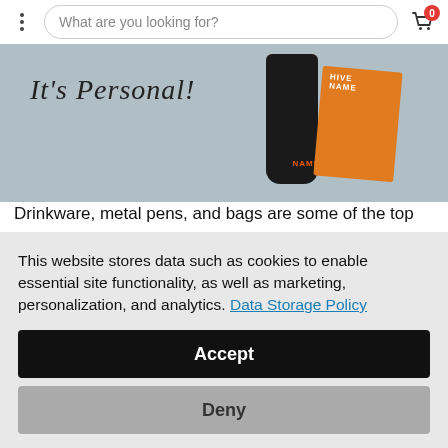What are you looking for?
[Figure (photo): Promotional banner image showing 'It's Personal!' script text with a black tumbler and an orange branded notebook/notepad on a gray background.]
Drinkware, metal pens, and bags are some of the top choices to personalize. Among the drinkware items that can be personalized is the best-selling 20 oz Himalayan Tumbler. Especially now when reducing the spread of germs is a top priority, personalization can also help to ensure items aren't accidentally mixed up or shared among people. Metal pens
This website stores data such as cookies to enable essential site functionality, as well as marketing, personalization, and analytics. Data Storage Policy
Accept
Deny